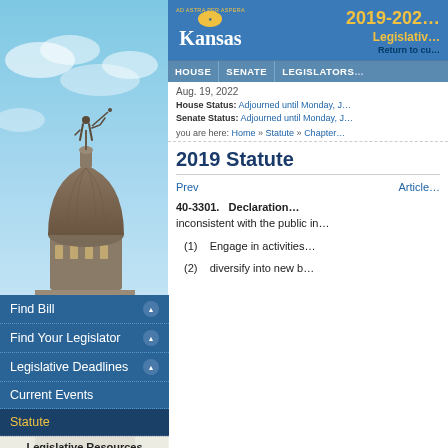[Figure (photo): Kansas State Capitol building dome with statue on top against blue sky background]
2019-2022 Legislative | Return to current session
HOUSE | SENATE | LEGISLATORS
Aug. 19, 2022
House Status: Adjourned until Monday, J...
Senate Status: Adjourned until Monday, J...
you are here: Home » Statute » Chapter...
Find Bill
Find Your Legislator
Legislative Deadlines
Current Events
Statute
Legislative Resources
Administrative Services
Division of Post Audit
Information Services
Research Department
2019 Statute
Prev    Article
40-3301. Declaration   inconsistent with the public in...
(1)    Engage in activities...
(2)    diversify into new b...